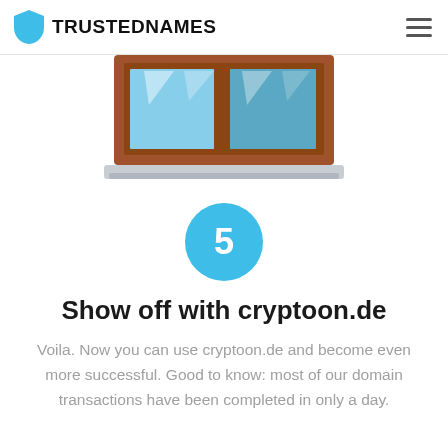TRUSTEDNAMES
[Figure (illustration): Illustration of a storefront/shop window with brown frame, glass panes with light reflections, and a gray step/ledge at the bottom]
[Figure (infographic): Blue circle with white number 5 inside, representing step 5]
Show off with cryptoon.de
Voila. Now you can use cryptoon.de and become even more successful. Good to know: most of our domain transactions have been completed in only a day.